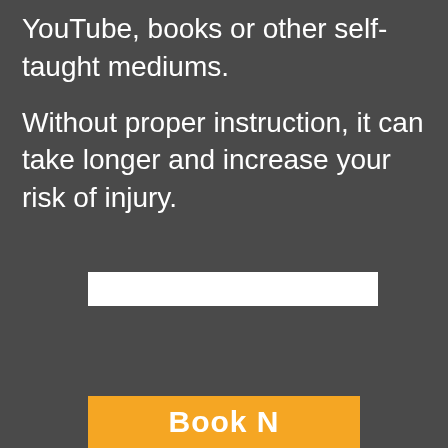YouTube, books or other self-taught mediums.
Without proper instruction, it can take longer and increase your risk of injury.
[Figure (other): White input/text field bar]
[Figure (other): Orange button partially visible at bottom with bold white text starting with 'Bo' or 'Book N']